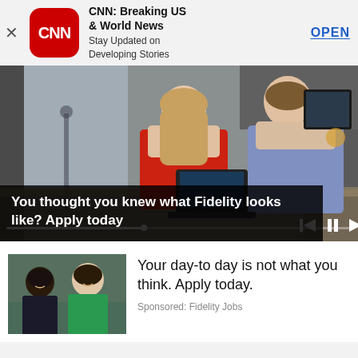[Figure (screenshot): CNN app advertisement banner with red rounded square CNN logo, app title 'CNN: Breaking US & World News', subtitle 'Stay Updated on Developing Stories', and blue OPEN button]
[Figure (screenshot): Fidelity Jobs video advertisement showing a woman in red top and a man in blue shirt at a desk with laptop, with playback controls, progress bar, and caption overlay reading 'You thought you knew what Fidelity looks like? Apply today']
[Figure (screenshot): Fidelity Jobs sponsored content card with thumbnail photo of two women (one in green) and text 'Your day-to day is not what you think. Apply today.' Sponsored: Fidelity Jobs]